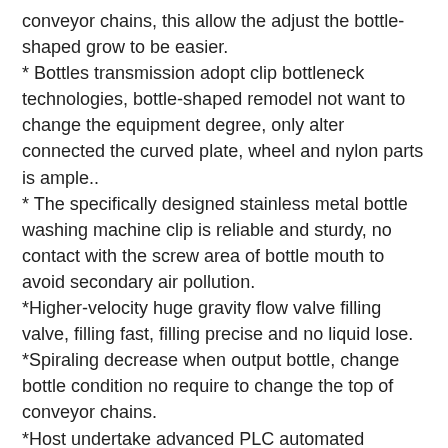conveyor chains, this allow the adjust the bottle-shaped grow to be easier.
* Bottles transmission adopt clip bottleneck technologies, bottle-shaped remodel not want to change the equipment degree, only alter connected the curved plate, wheel and nylon parts is ample..
* The specifically designed stainless metal bottle washing machine clip is reliable and sturdy, no contact with the screw area of bottle mouth to avoid secondary air pollution.
*Higher-velocity huge gravity flow valve filling valve, filling fast, filling precise and no liquid lose.
*Spiraling decrease when output bottle, change bottle condition no require to change the top of conveyor chains.
*Host undertake advanced PLC automated management engineering, the important electrical elements from popular business this kind of as Japan's Mitsubishi, France Schneider, OMRON,